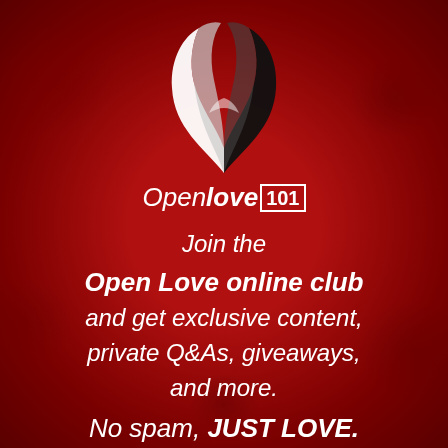[Figure (logo): Openlove101 logo: two intertwined ribbon/ribbon shapes (white and black) forming a heart/cross symbol above the brand name 'Openlove101' on a dark red background.]
Join the Open Love online club and get exclusive content, private Q&As, giveaways, and more. No spam, JUST LOVE.